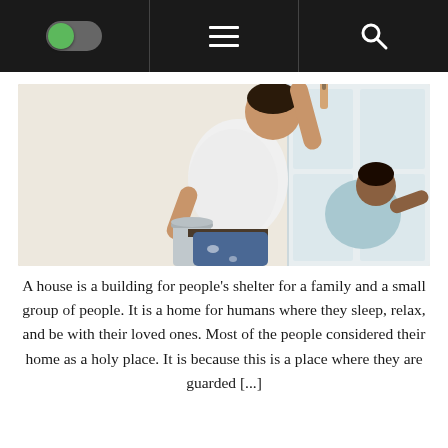[Navigation bar with toggle, menu, and search icons]
[Figure (photo): Two men painting a room interior. The man in the foreground wears a white t-shirt and jeans, holding a paint can and painting a white wall with a brush raised above his head. A second man in a light blue shirt is crouched in the background near a white door or closet.]
A house is a building for people's shelter for a family and a small group of people. It is a home for humans where they sleep, relax, and be with their loved ones. Most of the people considered their home as a holy place. It is because this is a place where they are guarded [...]